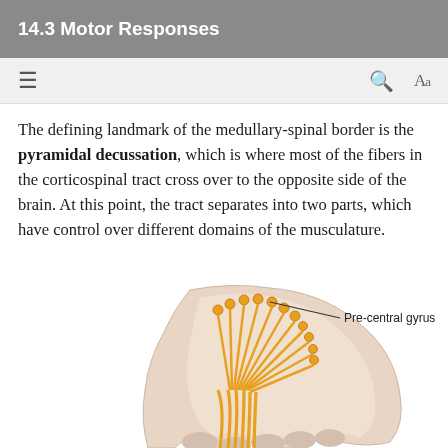14.3 Motor Responses
The defining landmark of the medullary-spinal border is the pyramidal decussation, which is where most of the fibers in the corticospinal tract cross over to the opposite side of the brain. At this point, the tract separates into two parts, which have control over different domains of the musculature.
[Figure (illustration): Anatomical illustration showing the pre-central gyrus of the brain with golden/yellow nerve fibers (corticospinal tract) branching out from the cortex and converging downward. A label line points to the top of the brain cross-section reading 'Pre-central gyrus'. The brain tissue is shown in a pinkish-beige color with the nerve fibers in orange-gold color.]